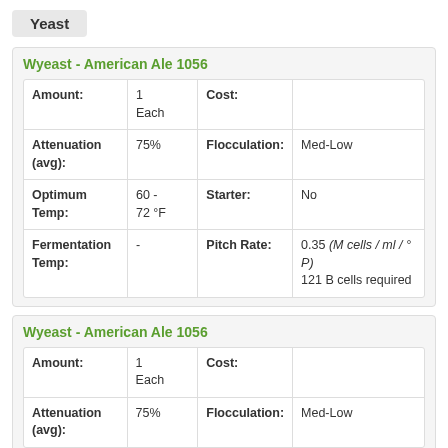Yeast
Wyeast - American Ale 1056
|  |  |  |  |
| --- | --- | --- | --- |
| Amount: | 1 Each | Cost: |  |
| Attenuation (avg): | 75% | Flocculation: | Med-Low |
| Optimum Temp: | 60 - 72 °F | Starter: | No |
| Fermentation Temp: | - | Pitch Rate: | 0.35 (M cells / ml / ° P) 121 B cells required |
Wyeast - American Ale 1056
|  |  |  |  |
| --- | --- | --- | --- |
| Amount: | 1 Each | Cost: |  |
| Attenuation (avg): | 75% | Flocculation: | Med-Low |